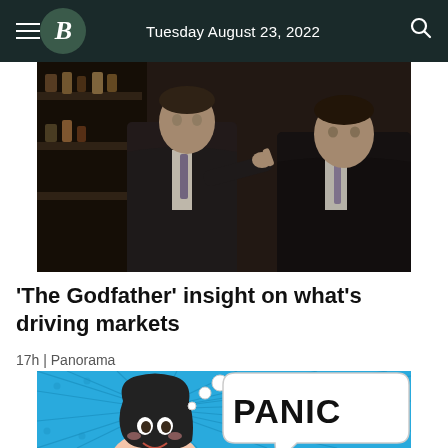Tuesday August 23, 2022
[Figure (photo): Two men in dark suits, one pointing finger at the camera in a dramatic pose, moody bar/restaurant setting in background. Still from The Godfather or similar film.]
'The Godfather' insight on what's driving markets
17h | Panorama
[Figure (illustration): Comic book style illustration of a panicking woman with dark hair, with a speech/thought bubble saying 'PANIC' in bold text, blue pop-art background with action lines and dots.]